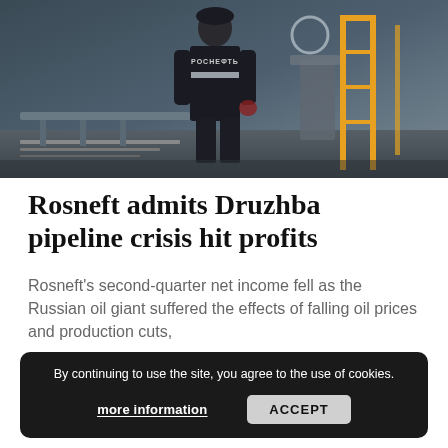[Figure (photo): A worker in a dark jacket with РОСНЕФТЬ (Rosneft) branding on the back, standing at an industrial oil facility with pipes and yellow scaffolding visible in the background.]
Rosneft admits Druzhba pipeline crisis hit profits
Rosneft's second-quarter net income fell as the Russian oil giant suffered the effects of falling oil prices and production cuts,
By Energy Reporters | 22.08.2019
By continuing to use the site, you agree to the use of cookies.
more information   ACCEPT